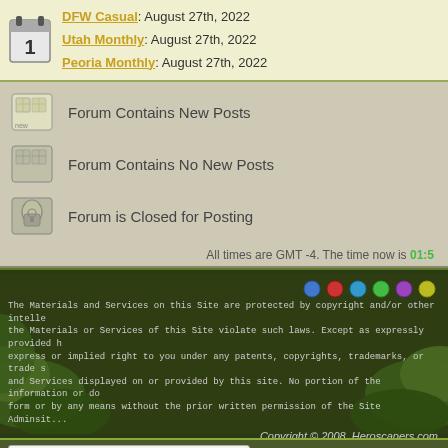DFW Casual: August 27th, 2022
Utah Monthly: August 27th, 2022
Peoria Monthly: August 27th, 2022
Forum Contains New Posts
Forum Contains No New Posts
Forum is Closed for Posting
All times are GMT -4. The time now is 01:5...
The Materials and Services on this Site are protected by copyright and/or other intellec... the Materials or Services of this Site violate such laws. Except as expressly provided... express or implied right to you under any patents, copyrights, trademarks, or trade s... and Services displayed on or provided by this site. No portion of the information or do... form or by any means without the prior written permission of the Site Adminsit...
Copyright © 2008, Heroscapers.com
---- Ticalla Jungle & Wave 8
Heroscapers.com - M...
Powered by vBulletin® Version 3.8.8
Copyright ©2000 - 2022, vBulletin Solutions, Inc.
User Alert System provided by - vBulletin Mods & Addons
Copyright © 2022 DragonByte Technologies Ltd.